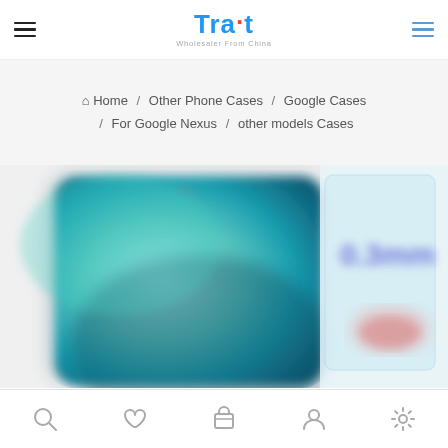Trait - Wholesaler From China
Home / Other Phone Cases / Google Cases / For Google Nexus / other models Cases
[Figure (photo): Blurred product photo showing a Google Nexus phone with a thin 0.3mm clear case, phone displaying a teal/turquoise landscape wallpaper]
Navigation icons: Search, Wishlist, Cart, Account, Settings